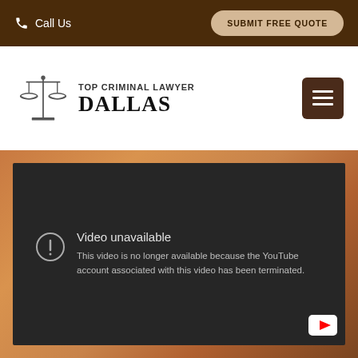Call Us | SUBMIT FREE QUOTE
[Figure (logo): Top Criminal Lawyer Dallas logo with scales of justice icon]
[Figure (screenshot): Embedded YouTube video player showing error: Video unavailable. This video is no longer available because the YouTube account associated with this video has been terminated.]